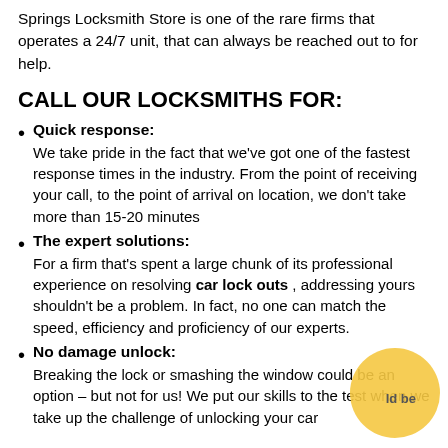Springs Locksmith Store is one of the rare firms that operates a 24/7 unit, that can always be reached out to for help.
CALL OUR LOCKSMITHS FOR:
Quick response: We take pride in the fact that we've got one of the fastest response times in the industry. From the point of receiving your call, to the point of arrival on location, we don't take more than 15-20 minutes
The expert solutions: For a firm that's spent a large chunk of its professional experience on resolving car lock outs , addressing yours shouldn't be a problem. In fact, no one can match the speed, efficiency and proficiency of our experts.
No damage unlock: Breaking the lock or smashing the window could be an option – but not for us! We put our skills to the test when we take up the challenge of unlocking your car